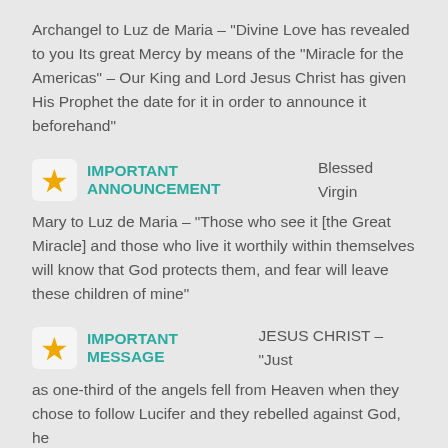Archangel to Luz de Maria – “Divine Love has revealed to you Its great Mercy by means of the “Miracle for the Americas” – Our King and Lord Jesus Christ has given His Prophet the date for it in order to announce it beforehand”
IMPORTANT ANNOUNCEMENT
Blessed Virgin Mary to Luz de Maria – “Those who see it [the Great Miracle] and those who live it worthily within themselves will know that God protects them, and fear will leave these children of mine”
IMPORTANT MESSAGE
JESUS CHRIST – “Just as one-third of the angels fell from Heaven when they chose to follow Lucifer and they rebelled against God, he…